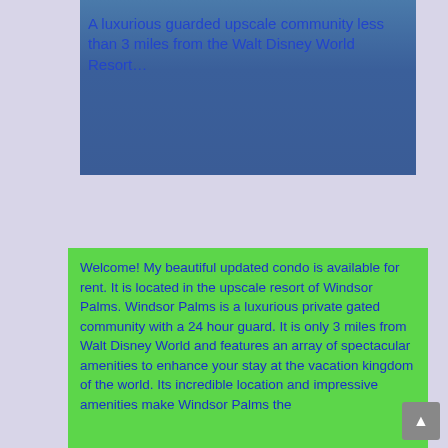[Figure (photo): Blue-toned image block (photo of Windsor Palms community) with text overlay]
A luxurious guarded upscale community less than 3 miles from the Walt Disney World Resort…
Welcome! My beautiful updated condo is available for rent. It is located in the upscale resort of Windsor Palms. Windsor Palms is a luxurious private gated community with a 24 hour guard. It is only 3 miles from Walt Disney World and features an array of spectacular amenities to enhance your stay at the vacation kingdom of the world. Its incredible location and impressive amenities make Windsor Palms the